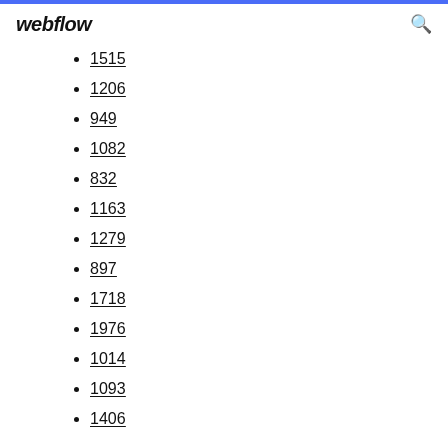webflow
1515
1206
949
1082
832
1163
1279
897
1718
1976
1014
1093
1406